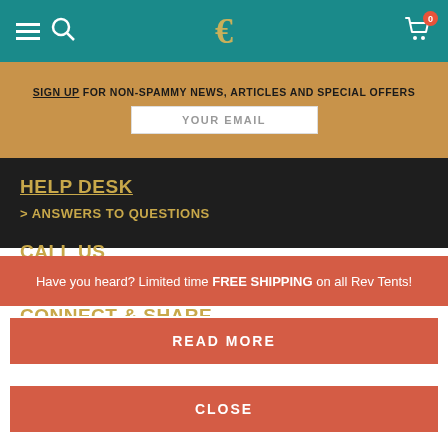Navigation bar with hamburger menu, search icon, logo, and cart (0 items)
SIGN UP FOR NON-SPAMMY NEWS, ARTICLES AND SPECIAL OFFERS
YOUR EMAIL
HELP DESK
> ANSWERS TO QUESTIONS
CALL US
> 1 (323) 831-8183 / M-F: 7A TO 7P PST
CONNECT & SHARE
Have you heard? Limited time FREE SHIPPING on all Rev Tents!
READ MORE
CLOSE